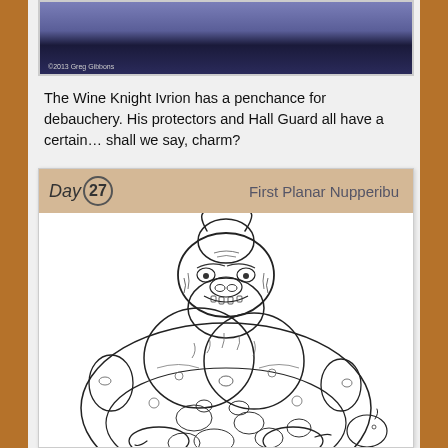[Figure (illustration): Top partial image showing a blue-toned fantasy creature illustration with copyright text '©2013 Greg Gibbons' at bottom left, on a purple/dark blue background.]
The Wine Knight Ivrion has a penchance for debauchery. His protectors and Hall Guard all have a certain… shall we say, charm?
[Figure (illustration): Card-style illustration labeled 'Day 27' and 'First Planar Nupperibu' showing a large, grotesque fantasy creature — a very fat, lumpy, warty monster with horns, a pig-like snout, small eyes, visible teeth, and spotted/blistered skin. The drawing is a black line art sketch on white background.]